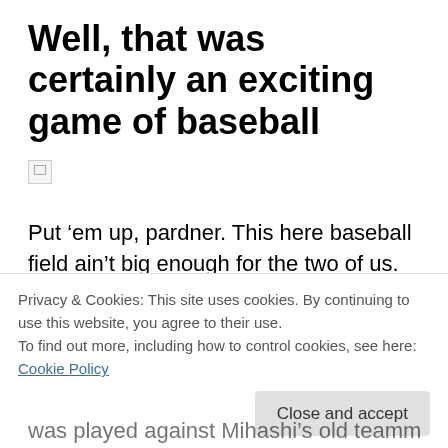Well, that was certainly an exciting game of baseball
[Figure (other): Broken/missing image placeholder (small broken image icon)]
Put ‘em up, pardner. This here baseball field ain’t big enough for the two of us.
After watching the obligatory initial practice game, which, since this is a sports anime after all, was every bit as thrilling and exciting as a real game, Ookiku Furikabutte
Privacy & Cookies: This site uses cookies. By continuing to use this website, you agree to their use.
To find out more, including how to control cookies, see here: Cookie Policy
was played against Mihashi’s old teammates (you know,